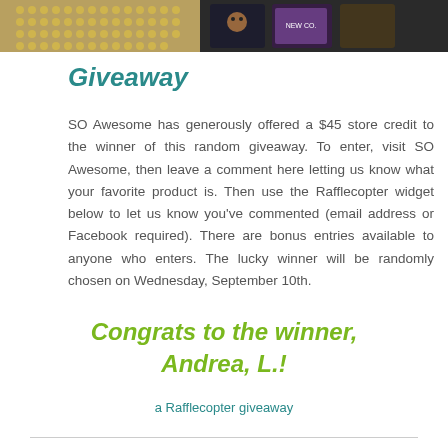[Figure (photo): Photo strip at top showing gold magnetic balls/beads on left and colorful product packaging (cat-themed items) on right against dark background]
Giveaway
SO Awesome has generously offered a $45 store credit to the winner of this random giveaway. To enter, visit SO Awesome, then leave a comment here letting us know what your favorite product is. Then use the Rafflecopter widget below to let us know you've commented (email address or Facebook required). There are bonus entries available to anyone who enters. The lucky winner will be randomly chosen on Wednesday, September 10th.
Congrats to the winner, Andrea, L.!
a Rafflecopter giveaway